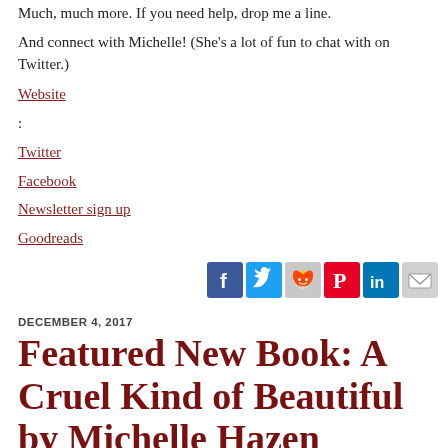Much, much more. If you need help, drop me a line.
And connect with Michelle! (She's a lot of fun to chat with on Twitter.)
Website:
Twitter
Facebook
Newsletter sign up
Goodreads
[Figure (infographic): Row of 6 social media share icons: Facebook (blue), Twitter (light blue), Reddit (grey with alien logo), Pinterest (red), LinkedIn (dark blue), Email (grey envelope)]
DECEMBER 4, 2017
Featured New Book: A Cruel Kind of Beautiful by Michelle Hazen